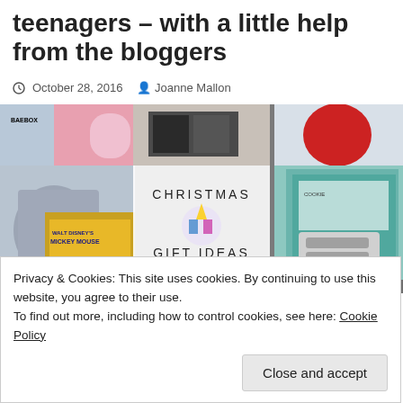teenagers – with a little help from the bloggers
October 28, 2016   Joanne Mallon
[Figure (photo): Collage image showing Christmas gift ideas for teenagers with text overlay reading 'CHRISTMAS GIFT IDEAS FOR TEENAGERS' and various product photos including beauty boxes, Disney items, and accessories.]
Privacy & Cookies: This site uses cookies. By continuing to use this website, you agree to their use.
To find out more, including how to control cookies, see here: Cookie Policy
Close and accept